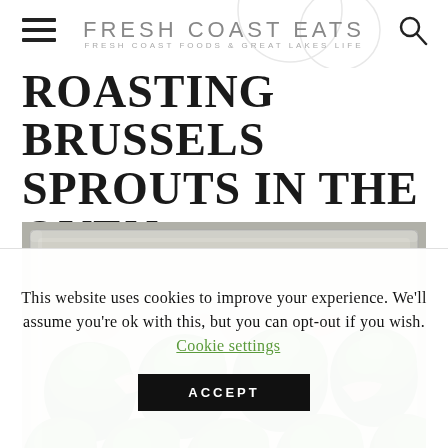FRESH COAST EATS | FRESH COAST FOODS & GREAT LAKES LIFE
ROASTING BRUSSELS SPROUTS IN THE OVEN
[Figure (photo): Brussels sprouts and pieces of bacon arranged on a metal baking sheet, viewed from above]
This website uses cookies to improve your experience. We'll assume you're ok with this, but you can opt-out if you wish.   Cookie settings  ACCEPT